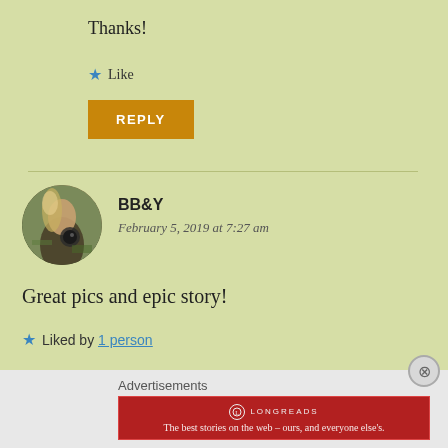Thanks!
★ Like
REPLY
BB&Y
February 5, 2019 at 7:27 am
[Figure (photo): Circular avatar photo of a person with a camera outdoors]
Great pics and epic story!
★ Liked by 1 person
Advertisements
[Figure (infographic): Longreads red advertisement banner: The best stories on the web – ours, and everyone else's.]